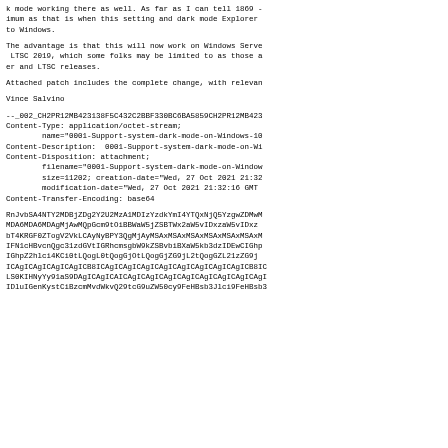k mode working there as well. As far as I can tell 1809 - imum as that is when this setting and dark mode Explorer to Windows.
The advantage is that this will now work on Windows Serve LTSC 2019, which some folks may be limited to as those a er and LTSC releases.
Attached patch includes the complete change, with relevan
Vince Salvino
--_002_CH2PR12MB423138F5C432C2BBF330BC6BA5859CH2PR12MB423
Content-Type: application/octet-stream;
        name="0001-Support-system-dark-mode-on-Windows-10
Content-Description:  0001-Support-system-dark-mode-on-Wi
Content-Disposition: attachment;
        filename="0001-Support-system-dark-mode-on-Window
        size=11202; creation-date="Wed, 27 Oct 2021 21:32
        modification-date="Wed, 27 Oct 2021 21:32:16 GMT
Content-Transfer-Encoding: base64
RnJvbSA4NTY2MDBjZDg2Y2U2MzA1MDIzYzdkYmI4YTQxNjQ5YzgwZDMwM
MDA6MDA6MDAgMjAwMQpGcm9tOiBBWaW5jZSBTWx2aW5vIDxzaW5vIDxz
bT4KRGF0ZTogV2VkLCAyNyBPY3QgMjAyMSAxMSAxMSAxMSAxMSAxMSAxM
IFN1cHBvcnQgc31zdGVtIGRhcmsgbW9kZSBvbiBXaW5kb3dzIDEwCIGhp
IGhpZ2hlci4KCi0tLQogL0tQogGjOtLQogGjZG9jL2tQogGZL21zZG9j
ICAgICAgICAgICAgICB8ICAgICAgICAgICAgICAgICAgICAgICAgICB8IC
LS0KIHNyYy91aS9DAgICAgICAICAgICAgICAgICAgICAgICAgICAgICAgI
IDluIGenKystCiBzcmMvdWkvQ29tcG9uZW50cy9FeHBsb3Jlci9FeHBsb3